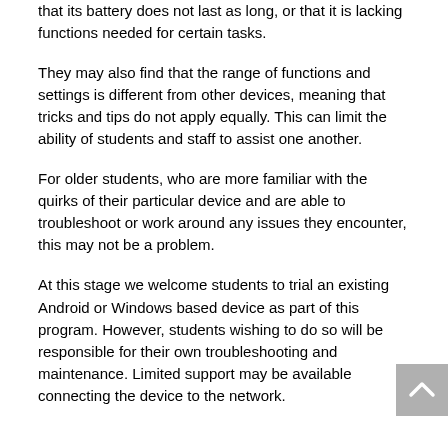that its battery does not last as long, or that it is lacking functions needed for certain tasks.
They may also find that the range of functions and settings is different from other devices, meaning that tricks and tips do not apply equally. This can limit the ability of students and staff to assist one another.
For older students, who are more familiar with the quirks of their particular device and are able to troubleshoot or work around any issues they encounter, this may not be a problem.
At this stage we welcome students to trial an existing Android or Windows based device as part of this program. However, students wishing to do so will be responsible for their own troubleshooting and maintenance. Limited support may be available connecting the device to the network.